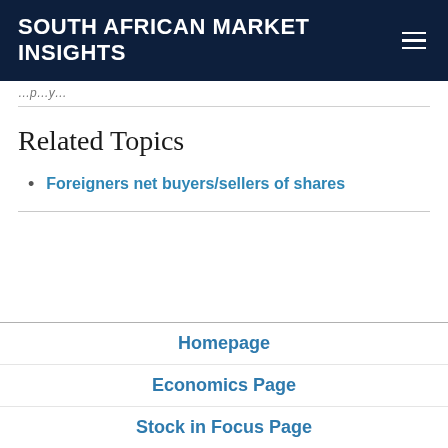SOUTH AFRICAN MARKET INSIGHTS
…(snippet/excerpt text)…
Related Topics
Foreigners net buyers/sellers of shares
Homepage
Economics Page
Stock in Focus Page